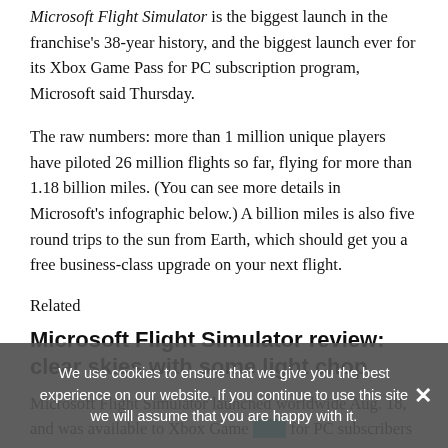Microsoft Flight Simulator is the biggest launch in the franchise's 38-year history, and the biggest launch ever for its Xbox Game Pass for PC subscription program, Microsoft said Thursday.
The raw numbers: more than 1 million unique players have piloted 26 million flights so far, flying for more than 1.18 billion miles. (You can see more details in Microsoft's infographic below.) A billion miles is also five round trips to the sun from Earth, which should get you a free business-class upgrade on your next flight.
Related
Microsoft Flight Simulator review: clear skies with some light chop
Microsoft Flight Simulator launched worldwide Aug. 18, and was available to Xbox Game Pass for PC subscribers the same day. Xbox Game Pass for PC, technically still in beta, launched in the summer of 2019. Its library of PC
We use cookies to ensure that we give you the best experience on our website. If you continue to use this site we will assume that you are happy with it.